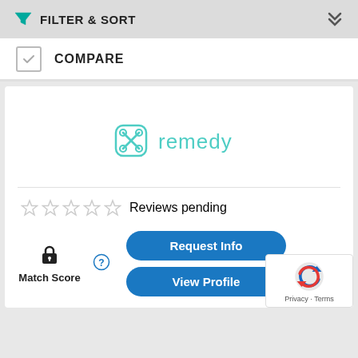FILTER & SORT
COMPARE
[Figure (logo): Remedy logo with green double-loop icon and teal 'remedy' wordmark]
Reviews pending
Match Score
Request Info
View Profile
[Figure (other): Google reCAPTCHA badge with Privacy and Terms links]